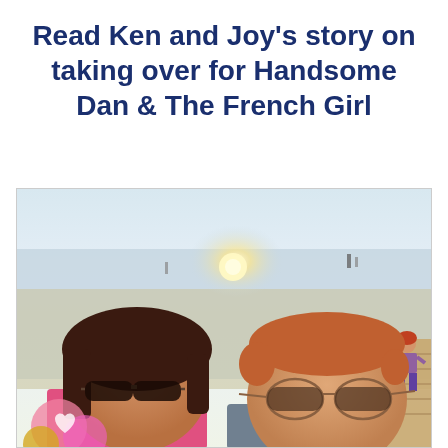Read Ken and Joy's story on taking over for Handsome Dan & The French Girl
[Figure (photo): A couple taking a selfie on a wooden boardwalk/pier at a beach. The woman on the left has dark hair and sunglasses; the man on the right has reddish-brown hair and aviator sunglasses. In the background, a bright sun sets over a calm sandy beach with a few people visible. Two children are visible on the boardwalk to the right. A decorative pink hearts graphic overlays the bottom-left corner.]